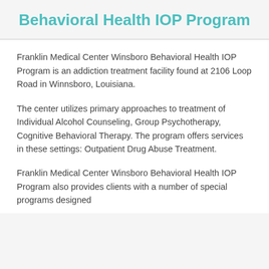Behavioral Health IOP Program
Franklin Medical Center Winsboro Behavioral Health IOP Program is an addiction treatment facility found at 2106 Loop Road in Winnsboro, Louisiana.
The center utilizes primary approaches to treatment of Individual Alcohol Counseling, Group Psychotherapy, Cognitive Behavioral Therapy. The program offers services in these settings: Outpatient Drug Abuse Treatment.
Franklin Medical Center Winsboro Behavioral Health IOP Program also provides clients with a number of special programs designed